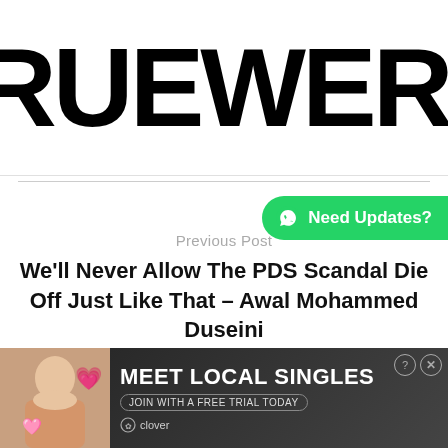[Figure (logo): TRUEWERK logo in large bold black text on white background]
Need Updates?
Previous Post
We'll Never Allow The PDS Scandal Die Off Just Like That – Awal Mohammed Duseini
Next Post
Student Of Kade SHS/T With Excellent Performance In
[Figure (advertisement): MEET LOCAL SINGLES advertisement banner with woman photo and clover branding]